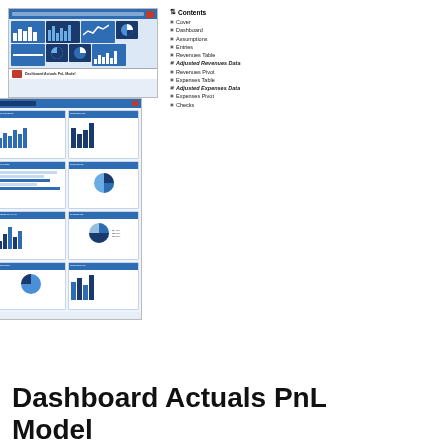[Figure (screenshot): Dashboard Actuals PnL Model spreadsheet screenshot showing charts and graphs with blue theme, labeled 'Dashboard Actuals PnL Model']
Contents
Cover
Dashboard
Assumptions
Entries
Revenues Table
Adjusted Revenues Data
Revenues Pivot
Expenses Table
Adjusted Expenses Data
Expenses Pivot
Checks
[Figure (screenshot): Dashboard screenshot showing multiple charts including bar charts, pie charts and data panels with blue theme]
[Figure (screenshot): Entries spreadsheet screenshot with blue header and data rows with yellow highlights]
[Figure (screenshot): Revenue table screenshot with green-themed data rows]
[Figure (screenshot): Expenses table screenshot with orange/beige-themed data rows]
[Figure (screenshot): Checks spreadsheet screenshot with blue header]
Dashboard Actuals PnL Model